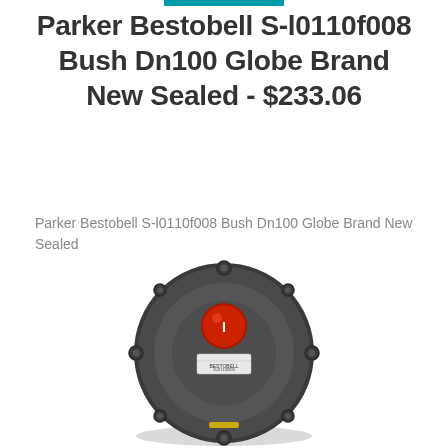Parker Bestobell S-l0110f008 Bush Dn100 Globe Brand New Sealed - $233.06
Parker Bestobell S-l0110f008 Bush Dn100 Globe Brand New Sealed
[Figure (photo): Top-down view of a Parker Bestobell industrial globe valve/bush component. The part is circular, dark grey/black in color, with a prominent red circular indicator button in the upper center, a white label with text in the middle-lower area, and several bolt/nut attachment points around the perimeter.]